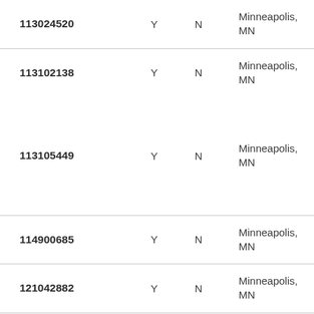| 113024520 | Y | N | Minneapolis, MN |
| 113102138 | Y | N | Minneapolis, MN |
| 113105449 | Y | N | Minneapolis, MN |
| 114900685 | Y | N | Minneapolis, MN |
| 121042882 | Y | N | Minneapolis, MN |
| (partial) |  |  | Minneapolis, |